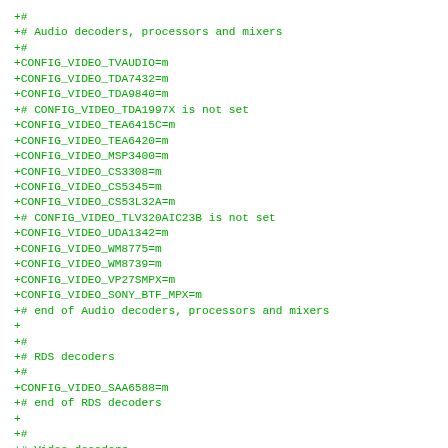+#
+# Audio decoders, processors and mixers
+#
+CONFIG_VIDEO_TVAUDIO=m
+CONFIG_VIDEO_TDA7432=m
+CONFIG_VIDEO_TDA9840=m
+# CONFIG_VIDEO_TDA1997X is not set
+CONFIG_VIDEO_TEA6415C=m
+CONFIG_VIDEO_TEA6420=m
+CONFIG_VIDEO_MSP3400=m
+CONFIG_VIDEO_CS3308=m
+CONFIG_VIDEO_CS5345=m
+CONFIG_VIDEO_CS53L32A=m
+# CONFIG_VIDEO_TLV320AIC23B is not set
+CONFIG_VIDEO_UDA1342=m
+CONFIG_VIDEO_WM8775=m
+CONFIG_VIDEO_WM8739=m
+CONFIG_VIDEO_VP27SMPX=m
+CONFIG_VIDEO_SONY_BTF_MPX=m
+# end of Audio decoders, processors and mixers
+
+#
+# RDS decoders
+#
+CONFIG_VIDEO_SAA6588=m
+# end of RDS decoders
+
+#
+# Video decoders
+#